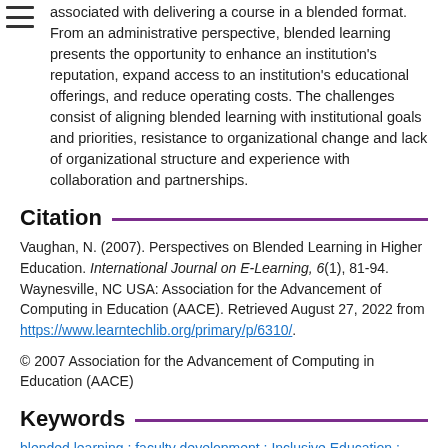associated with delivering a course in a blended format. From an administrative perspective, blended learning presents the opportunity to enhance an institution's reputation, expand access to an institution's educational offerings, and reduce operating costs. The challenges consist of aligning blended learning with institutional goals and priorities, resistance to organizational change and lack of organizational structure and experience with collaboration and partnerships.
Citation
Vaughan, N. (2007). Perspectives on Blended Learning in Higher Education. International Journal on E-Learning, 6(1), 81-94. Waynesville, NC USA: Association for the Advancement of Computing in Education (AACE). Retrieved August 27, 2022 from https://www.learntechlib.org/primary/p/6310/.
© 2007 Association for the Advancement of Computing in Education (AACE)
Keywords
blended learning ; faculty development ; Inclusive Education ; Integration ; student interaction ; teaching ; Teaching Methods ;